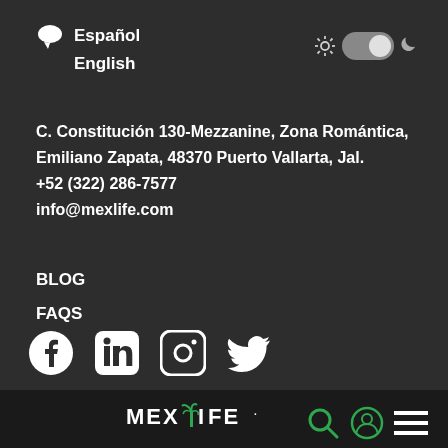Español
English
C. Constitución 130-Mezzanine, Zona Romántica, Emiliano Zapata, 48370 Puerto Vallarta, Jal.
+52 (322) 286-7577
info@mexlife.com
BLOG
FAQS
[Figure (logo): Social media icons: Facebook, LinkedIn, Instagram, Twitter]
[Figure (logo): MEXLIFE logo with green palm tree icon and navigation icons (search, user, menu)]